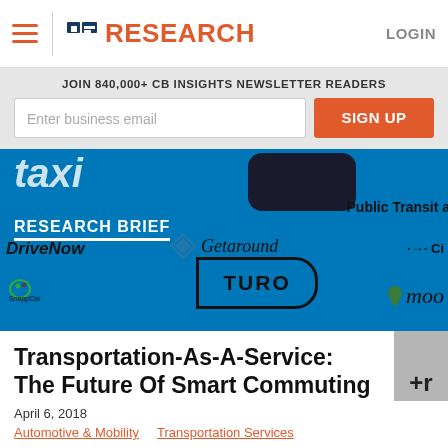CB INSIGHTS RESEARCH | LOGIN
JOIN 840,000+ CB INSIGHTS NEWSLETTER READERS
Enter business email | SIGN UP
[Figure (infographic): Blue background hero image showing transportation company logos: taxi, DriveNow, Getaround, SnappCar, TURO, moo (Moovit). Labels: 'RESEARCH BRIEF' and 'Public Transit a...' and 'Ci...' visible.]
Transportation-As-A-Service: The Future Of Smart Commuting
April 6, 2018
Automotive & Mobility    Transportation Services